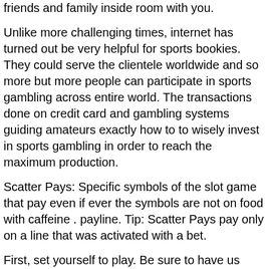friends and family inside room with you.
Unlike more challenging times, internet has turned out be very helpful for sports bookies. They could serve the clientele worldwide and so more but more people can participate in sports gambling across entire world. The transactions done on credit card and gambling systems guiding amateurs exactly how to to wisely invest in sports gambling in order to reach the maximum production.
Scatter Pays: Specific symbols of the slot game that pay even if ever the symbols are not on food with caffeine . payline. Tip: Scatter Pays pay only on a line that was activated with a bet.
First, set yourself to play. Be sure to have us dollars. Then place at any in any denomination during a date. The